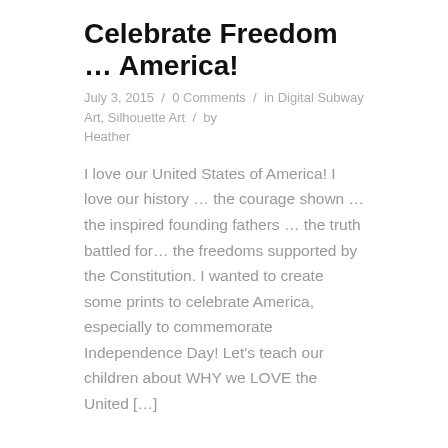Celebrate Freedom … America!
July 3, 2015  /  0 Comments  /  in Digital Subway Art, Silhouette Art  /  by Heather
I love our United States of America! I love our history … the courage shown … the inspired founding fathers … the truth battled for… the freedoms supported by the Constitution. I wanted to create some prints to celebrate America, especially to commemorate Independence Day! Let's teach our children about WHY we LOVE the United […]
Etsy Shop OPEN!!!
July 1, 2015  /  0 Comments  /  in Uncategorized  /  by Heather
Simply Fresh Designs Etsy shop is now open!!! After 1 1/2 years, I decided to open it back up. My wee babe is 10 months and adds to our busyness. But there are good things happening in our life! (amidst all the challenges, as always!) Anyhoo… Head on over to the Etsy Shop. I'll be […]